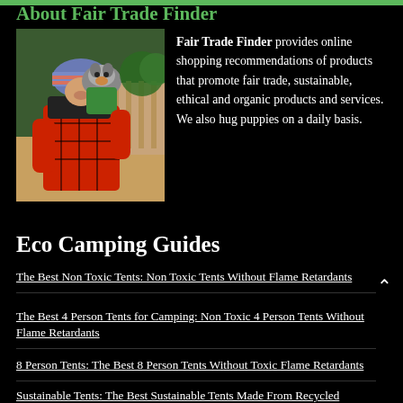About Fair Trade Finder
[Figure (photo): Person in red plaid shirt and knit hat kissing/holding a small dog outdoors]
Fair Trade Finder provides online shopping recommendations of products that promote fair trade, sustainable, ethical and organic products and services. We also hug puppies on a daily basis.
Eco Camping Guides
The Best Non Toxic Tents: Non Toxic Tents Without Flame Retardants
The Best 4 Person Tents for Camping: Non Toxic 4 Person Tents Without Flame Retardants
8 Person Tents: The Best 8 Person Tents Without Toxic Flame Retardants
Sustainable Tents: The Best Sustainable Tents Made From Recycled